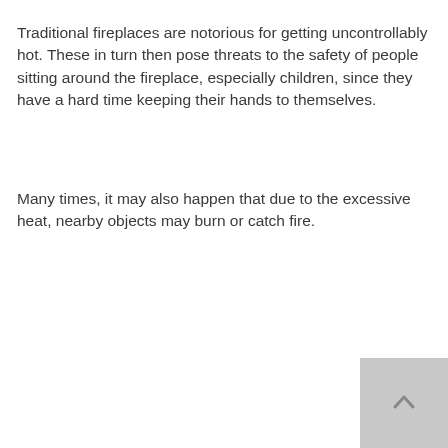Traditional fireplaces are notorious for getting uncontrollably hot. These in turn then pose threats to the safety of people sitting around the fireplace, especially children, since they have a hard time keeping their hands to themselves.
Many times, it may also happen that due to the excessive heat, nearby objects may burn or catch fire.